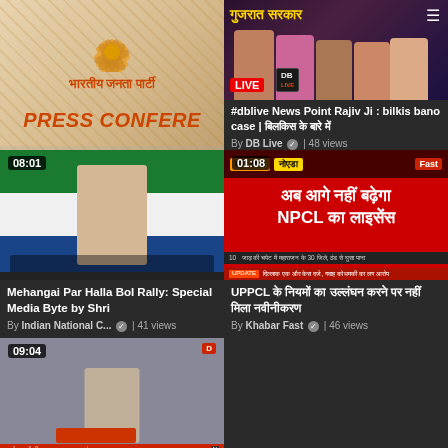[Figure (screenshot): BJP (Bharatiya Janata Party) Press Conference thumbnail with lotus logo and Hindi text]
[Figure (screenshot): DB Live News Point Rajiv Ji - bilkis bano case news thumbnail with LIVE badge and persons]
#dblive News Point Rajiv Ji : bilkis bano case | बिलकिस के बारे में
By DB Live ✓ | 48 views
[Figure (screenshot): Mehangai Par Halla Bol Rally: Special Media Byte by Shri - Congress press conference video thumbnail with duration 08:01]
Mehangai Par Halla Bol Rally: Special Media Byte by Shri
By Indian National C... ✓ | 41 views
[Figure (screenshot): UPPCL news thumbnail - अब आगे नहीं बढ़ेगा NPCL का लाइसेंस, Khabar Fast channel, duration 01:08]
UPPCL के नियमों का उल्लंघन करने पर नहीं मिला नवीनीकरण
By Khabar Fast ✓ | 46 views
[Figure (screenshot): DD News video thumbnail with speaker at podium, duration 09:04]
कार्यक्रम में सीधा जनराम ठाकुर का संभाषण से 75 साल पहले भारत के उन पलों का एक दौर